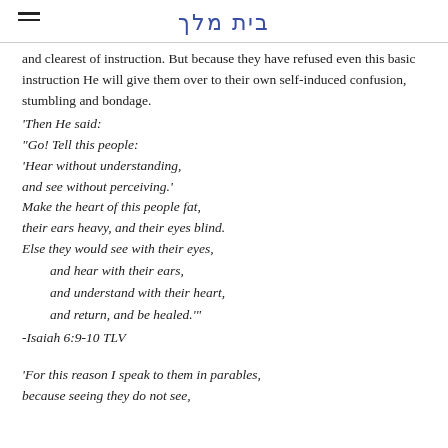בית מלך
and clearest of instruction. But because they have refused even this basic instruction He will give them over to their own self-induced confusion, stumbling and bondage.
'Then He said:
"Go! Tell this people:
'Hear without understanding,
and see without perceiving.'
Make the heart of this people fat,
their ears heavy, and their eyes blind.
Else they would see with their eyes,
    and hear with their ears,
    and understand with their heart,
    and return, and be healed.'"
-Isaiah 6:9-10 TLV
'For this reason I speak to them in parables,
because seeing they do not see,